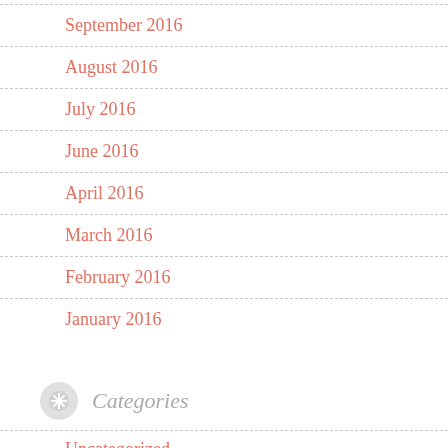September 2016
August 2016
July 2016
June 2016
April 2016
March 2016
February 2016
January 2016
Categories
Uncategorized